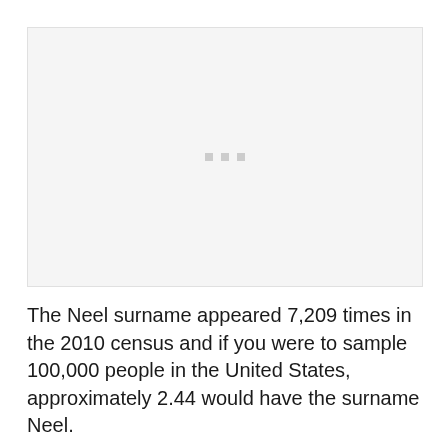[Figure (other): Placeholder image area with three small gray squares in the center on a light gray background]
The Neel surname appeared 7,209 times in the 2010 census and if you were to sample 100,000 people in the United States, approximately 2.44 would have the surname Neel.